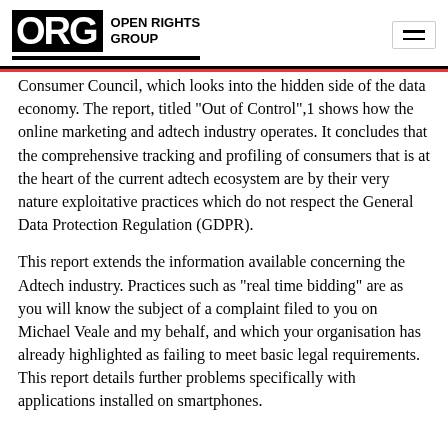ORG OPEN RIGHTS GROUP
Consumer Council, which looks into the hidden side of the data economy. The report, titled “Out of Control”,1 shows how the online marketing and adtech industry operates. It concludes that the comprehensive tracking and profiling of consumers that is at the heart of the current adtech ecosystem are by their very nature exploitative practices which do not respect the General Data Protection Regulation (GDPR).
This report extends the information available concerning the Adtech industry. Practices such as “real time bidding” are as you will know the subject of a complaint filed to you on Michael Veale and my behalf, and which your organisation has already highlighted as failing to meet basic legal requirements. This report details further problems specifically with applications installed on smartphones.